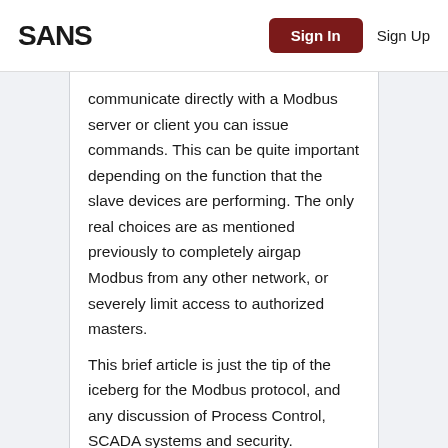SANS | Sign In | Sign Up
communicate directly with a Modbus server or client you can issue commands. This can be quite important depending on the function that the slave devices are performing. The only real choices are as mentioned previously to completely airgap Modbus from any other network, or severely limit access to authorized masters.
This brief article is just the tip of the iceberg for the Modbus protocol, and any discussion of Process Control, SCADA systems and security.
Additional reading:
http://www.digitalbond.com/wiki/index.ph